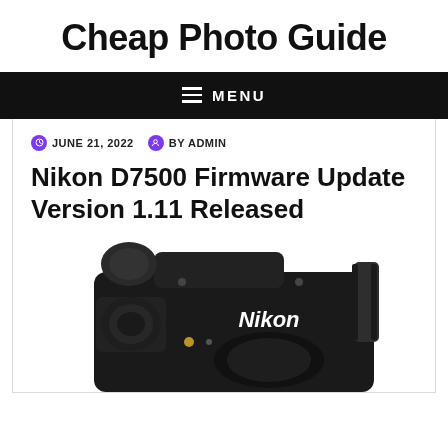Cheap Photo Guide
≡ MENU
JUNE 21, 2022  BY ADMIN
Nikon D7500 Firmware Update Version 1.11 Released
[Figure (photo): Nikon D7500 DSLR camera body shown from the front, black, with Nikon logo visible on the front.]